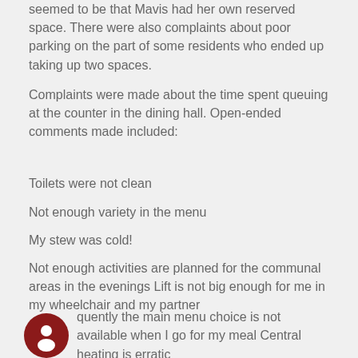seemed to be that Mavis had her own reserved space. There were also complaints about poor parking on the part of some residents who ended up taking up two spaces.
Complaints were made about the time spent queuing at the counter in the dining hall. Open-ended comments made included:
Toilets were not clean
Not enough variety in the menu
My stew was cold!
Not enough activities are planned for the communal areas in the evenings Lift is not big enough for me in my wheelchair and my partner
quently the main menu choice is not available when I go for my meal Central heating is erratic